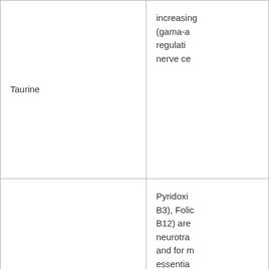| Ingredient | Description |
| --- | --- |
| Taurine | increasing (gama-a regulati nerve ce |
| B-Vitamins (B3, B6, B12) | Pyridoxi B3), Folic B12) are neurotra and for m essentia thought mood st and pani |
|  | Hops (H |